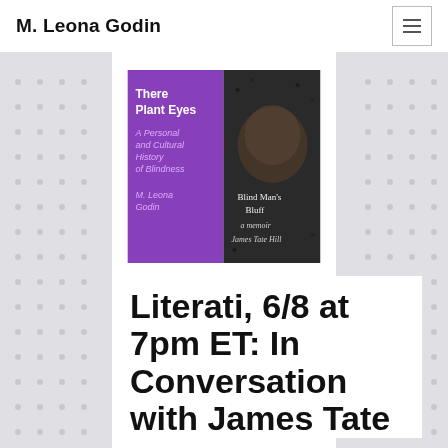M. Leona Godin
[Figure (photo): Book covers side by side: 'There Plant Eyes: A Personal and Cultural History of Blindness' by M. Leona Godin (purple cover) and 'Blind Man's Bluff: a memoir' by James Tate Hill (dark cover with a man's face)]
Literati, 6/8 at 7pm ET: In Conversation with James Tate